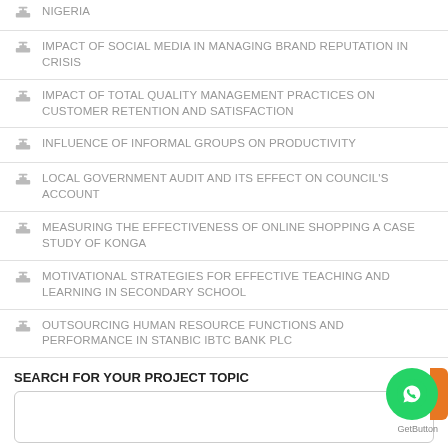NIGERIA
IMPACT OF SOCIAL MEDIA IN MANAGING BRAND REPUTATION IN CRISIS
IMPACT OF TOTAL QUALITY MANAGEMENT PRACTICES ON CUSTOMER RETENTION AND SATISFACTION
INFLUENCE OF INFORMAL GROUPS ON PRODUCTIVITY
LOCAL GOVERNMENT AUDIT AND ITS EFFECT ON COUNCIL'S ACCOUNT
MEASURING THE EFFECTIVENESS OF ONLINE SHOPPING A CASE STUDY OF KONGA
MOTIVATIONAL STRATEGIES FOR EFFECTIVE TEACHING AND LEARNING IN SECONDARY SCHOOL
OUTSOURCING HUMAN RESOURCE FUNCTIONS AND PERFORMANCE IN STANBIC IBTC BANK PLC
SEARCH FOR YOUR PROJECT TOPIC
[Figure (other): Search input box for project topics]
[Figure (other): WhatsApp GetButton chat widget with green circle icon and orange tab]